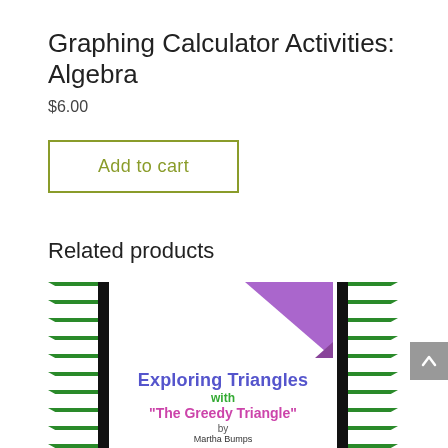Graphing Calculator Activities: Algebra
$6.00
Add to cart
Related products
[Figure (illustration): Book cover for 'Exploring Triangles with The Greedy Triangle by Martha Bumps' with green chevron pattern border, purple triangle shape, and colorful text]